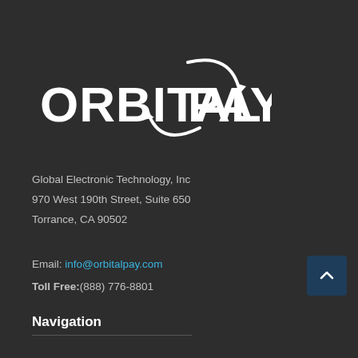[Figure (logo): OrbitalPay logo: bold white text 'ORBITALPAY' with orbit arrow graphic around the 'A']
Global Electronic Technology, Inc
970 West 190th Street, Suite 650
Torrance, CA 90502
Email: info@orbitalpay.com
Toll Free:(888) 776-8801
Navigation